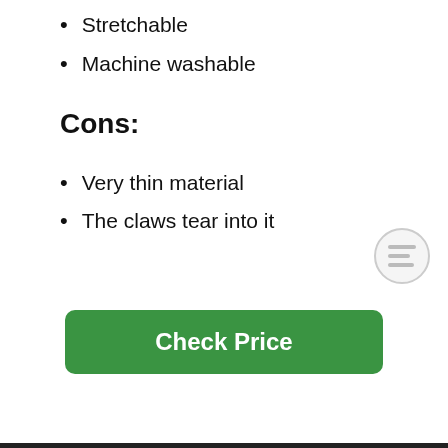Stretchable
Machine washable
Cons:
Very thin material
The claws tear into it
[Figure (other): Check Price button - green rounded rectangle with white bold text]